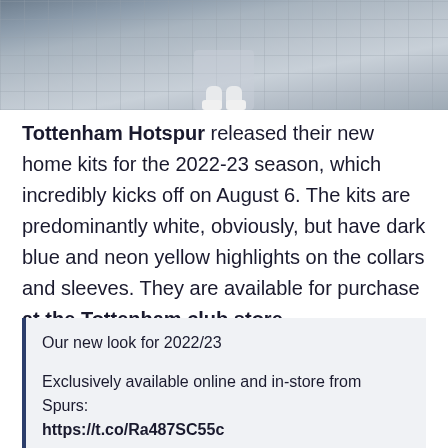[Figure (photo): Photo of person sitting on a cobblestone/tiled ground, wearing white sneakers and jeans, viewed from above/waist down.]
Tottenham Hotspur released their new home kits for the 2022-23 season, which incredibly kicks off on August 6. The kits are predominantly white, obviously, but have dark blue and neon yellow highlights on the collars and sleeves. They are available for purchase at the Tottenham club store.
Our new look for 2022/23

Exclusively available online and in-store from Spurs:
https://t.co/Ra487SC55c